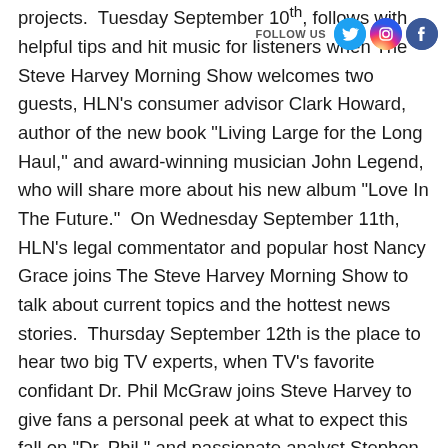projects.  Tuesday September 10th, follows with helpful tips and hit music for listeners when The Steve Harvey Morning Show welcomes two guests, HLN's consumer advisor Clark Howard, author of the new book "Living Large for the Long Haul," and award-winning musician John Legend, who will share more about his new album "Love In The Future."  On Wednesday September 11th, HLN's legal commentator and popular host Nancy Grace joins The Steve Harvey Morning Show to talk about current topics and the hottest news stories.  Thursday September 12th is the place to hear two big TV experts, when TV's favorite confidant Dr. Phil McGraw joins Steve Harvey to give fans a personal peek at what to expect this fall on "Dr. Phil," and passionate analyst Stephen A. Smith of ESPN's "First Take" shares his sports predictions for the NFL and NBA seasons.  On Friday September 13th, The Steve Harvey Morning Show wraps its blowout week with TV's beloved doctor, Dr.